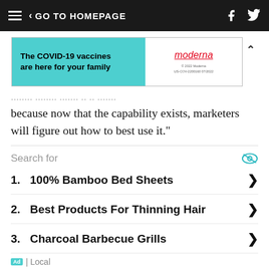< GO TO HOMEPAGE
[Figure (screenshot): Moderna COVID-19 vaccine advertisement banner: left side teal with bold text 'The COVID-19 vaccines are here for your family', right side white with Moderna logo and copyright text '© 2022 Moderna US-COV-2200160 07/2022']
because now that the capability exists, marketers will figure out how to best use it."
Search for
1. 100% Bamboo Bed Sheets
2. Best Products For Thinning Hair
3. Charcoal Barbecue Grills
Ad | Local